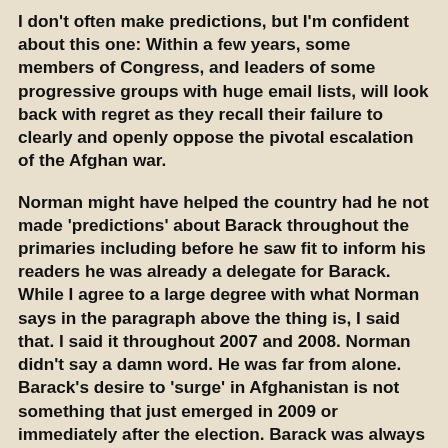I don't often make predictions, but I'm confident about this one: Within a few years, some members of Congress, and leaders of some progressive groups with huge email lists, will look back with regret as they recall their failure to clearly and openly oppose the pivotal escalation of the Afghan war.
Norman might have helped the country had he not made 'predictions' about Barack throughout the primaries including before he saw fit to inform his readers he was already a delegate for Barack. While I agree to a large degree with what Norman says in the paragraph above the thing is, I said that. I said it throughout 2007 and 2008. Norman didn't say a damn word. He was far from alone. Barack's desire to 'surge' in Afghanistan is not something that just emerged in 2009 or immediately after the election. Barack was always upfront about it and the left ignored it. Phyllis Bennis (whom I like) looked like a real fool frequently in 2008 giving lukewarm support to Barack when she should have been calling him out instead of pretending she was Meryl Streep in Sophie's Choice choosing which of her